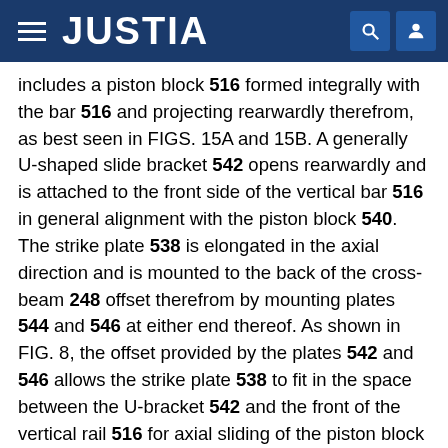JUSTIA
includes a piston block 516 formed integrally with the bar 516 and projecting rearwardly therefrom, as best seen in FIGS. 15A and 15B. A generally U-shaped slide bracket 542 opens rearwardly and is attached to the front side of the vertical bar 516 in general alignment with the piston block 540. The strike plate 538 is elongated in the axial direction and is mounted to the back of the cross-beam 248 offset therefrom by mounting plates 544 and 546 at either end thereof. As shown in FIG. 8, the offset provided by the plates 542 and 546 allows the strike plate 538 to fit in the space between the U-bracket 542 and the front of the vertical rail 516 for axial sliding of the piston block 540 and bracket 542 along the strike plate 538. The piston block 540 is provided with piston bores 548 which open forwardly and through which piston rods (not shown) are driven for locking of the structure 208 in fixed axial